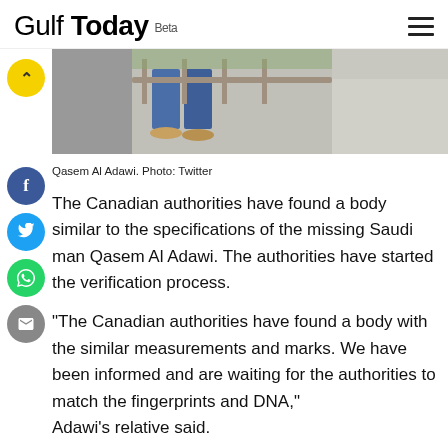Gulf Today Beta
[Figure (photo): Outdoor photo showing lower body of a person in jeans and sandals walking near a fence, with concrete pavement visible]
Qasem Al Adawi. Photo: Twitter
The Canadian authorities have found a body similar to the specifications of the missing Saudi man Qasem Al Adawi. The authorities have started the verification process.
"The Canadian authorities have found a body with the similar measurements and marks. We have been informed and are waiting for the authorities to match the fingerprints and DNA," Adawi's relative said.